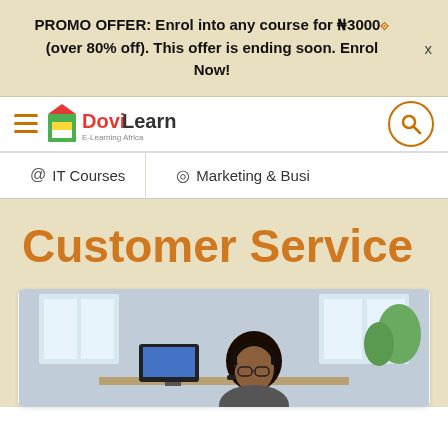PROMO OFFER: Enrol into any course for ₦3000 (over 80% off). This offer is ending soon. Enrol Now!
[Figure (logo): DoviLearn E-Learning Africa logo with hamburger menu and search icon]
@ IT Courses    @ Marketing & Busi
Customer Service
[Figure (photo): A woman with glasses and curly hair sitting at a desk, appearing to be a customer service representative. Office background with windows and green plant.]